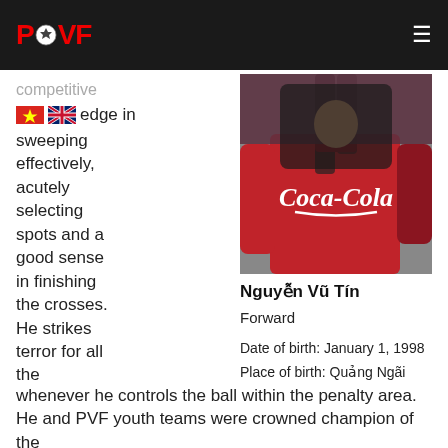PVF (logo with football icon) - navigation header
competitive edge in sweeping effectively, acutely selecting spots and a good sense in finishing the crosses. He strikes terror for all the defensive line whenever he controls the ball within the penalty area. He and PVF youth teams were crowned champion of the
[Figure (photo): Player wearing a red Coca-Cola sponsored jersey with a backpack]
Nguyễn Vũ Tín
Forward

Date of birth: January 1, 1998
Place of birth: Quảng Ngãi
Height: 171cm
Weight: 64kg